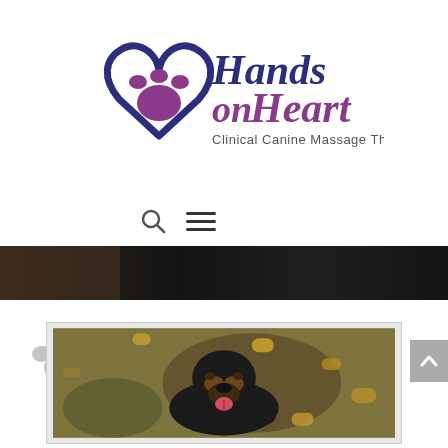[Figure (logo): Hands on Heart Clinical Canine Massage Therapy logo with a dark navy heart outline and a purple paw print inside, with stylized 'Hands on Heart' text in purple/dark purple and 'Clinical Canine Massage Therapy' subtitle]
[Figure (other): Navigation bar with a search (magnifying glass) icon and a hamburger menu icon]
[Figure (photo): Dark hero banner image showing a dark-furred animal, low saturation]
[Figure (illustration): Decorative grey paw print icon in the upper left of the content area]
[Figure (photo): Photo of a black and tan Rottweiler puppy looking up at the camera while lying on autumn leaves and grass, mouth open and tongue out, viewed from above]